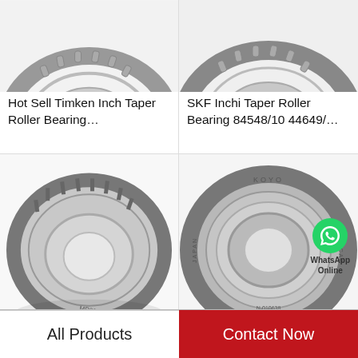[Figure (photo): Partial top view of a tapered roller bearing (Timken-style), cropped at top]
[Figure (photo): Partial top view of an SKF tapered roller bearing, cropped at top]
Hot Sell Timken Inch Taper Roller Bearing…
SKF Inchi Taper Roller Bearing 84548/10 44649/…
[Figure (photo): Auto tapered roller bearing (09067/09195), angled front view, full ring visible, labeled MR203]
[Figure (photo): Hm218248/10 truck wheel tapered roller bearing KOYO brand, with WhatsApp Online badge overlay]
Auto Taper Roller Bearing (09067/09195)
Hm218248/10 Truck Wheel Taper Roller Bearing…
All Products
Contact Now